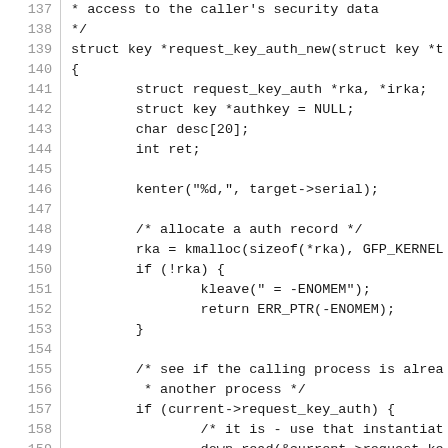[Figure (screenshot): Source code listing showing lines 137-167 of a C kernel source file (request_key_auth.c or similar), with line numbers in a left gutter separated by a vertical bar. The code defines the function request_key_auth_new and includes struct declarations, kmalloc calls, and error handling logic.]